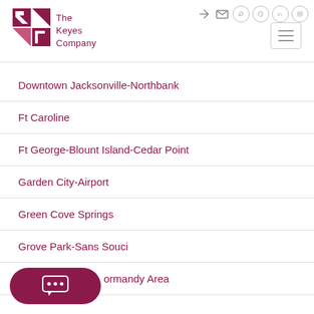[Figure (logo): The Keyes Company logo with stylized K mark in dark red/maroon and text 'The Keyes Company']
Downtown Jacksonville-Northbank
Ft Caroline
Ft George-Blount Island-Cedar Point
Garden City-Airport
Green Cove Springs
Grove Park-Sans Souci
...ormandy Area